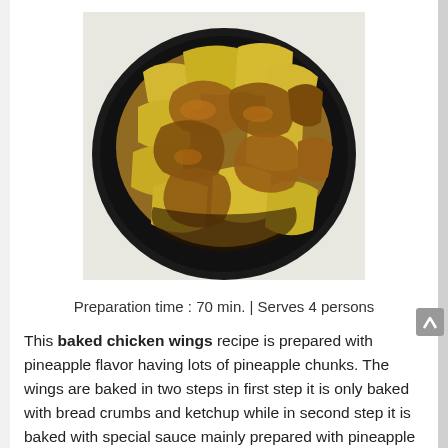[Figure (photo): A dark plate filled with baked chicken wings and large pineapple chunks, glazed with a golden-brown sauce.]
Preparation time : 70 min.  |  Serves 4 persons
This baked chicken wings recipe is prepared with pineapple flavor having lots of pineapple chunks. The wings are baked in two steps in first step it is only baked with bread crumbs and ketchup while in second step it is baked with special sauce mainly prepared with pineapple